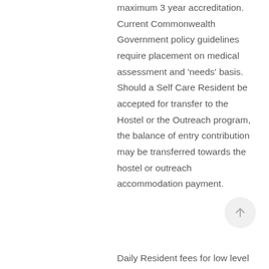maximum 3 year accreditation. Current Commonwealth Government policy guidelines require placement on medical assessment and 'needs' basis. Should a Self Care Resident be accepted for transfer to the Hostel or the Outreach program, the balance of entry contribution may be transferred towards the hostel or outreach accommodation payment.
Daily Resident fees for low level